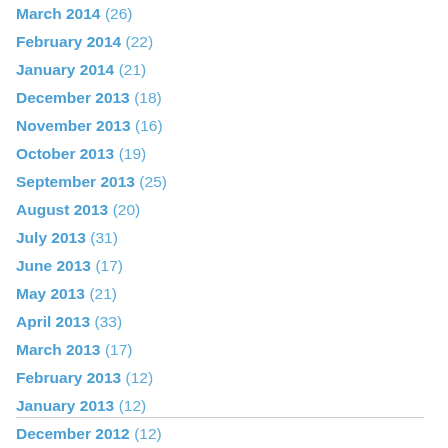March 2014 (26)
February 2014 (22)
January 2014 (21)
December 2013 (18)
November 2013 (16)
October 2013 (19)
September 2013 (25)
August 2013 (20)
July 2013 (31)
June 2013 (17)
May 2013 (21)
April 2013 (33)
March 2013 (17)
February 2013 (12)
January 2013 (12)
December 2012 (12)
November 2012 (8)
October 2012 (3)